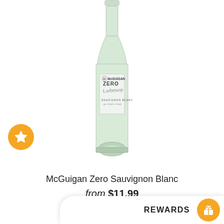[Figure (photo): A bottle of McGuigan Zero Sauvignon Blanc wine, green glass bottle with white label showing McGuigan Zero branding and signature, on a white background.]
McGuigan Zero Sauvignon Blanc
from $11.99
REWARDS